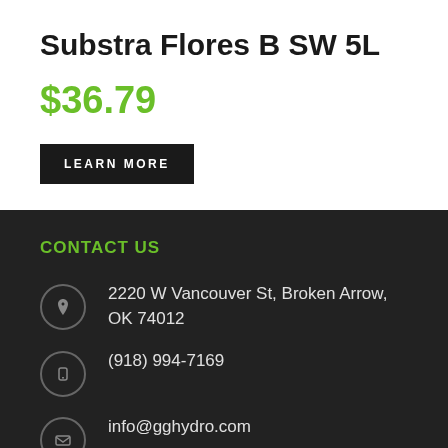Substra Flores B SW 5L
$36.79
LEARN MORE
CONTACT US
2220 W Vancouver St, Broken Arrow, OK 74012
(918) 994-7169
info@gghydro.com